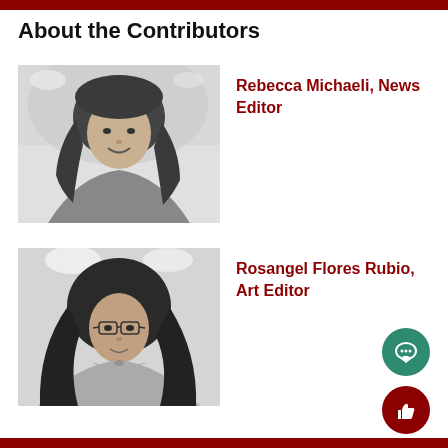About the Contributors
[Figure (photo): Black and white headshot photo of Rebecca Michaeli, a young woman with long curly hair, smiling]
Rebecca Michaeli, News Editor
[Figure (photo): Black and white headshot photo of Rosangel Flores Rubio, a young woman with glasses and long dark hair]
Rosangel Flores Rubio, Art Editor